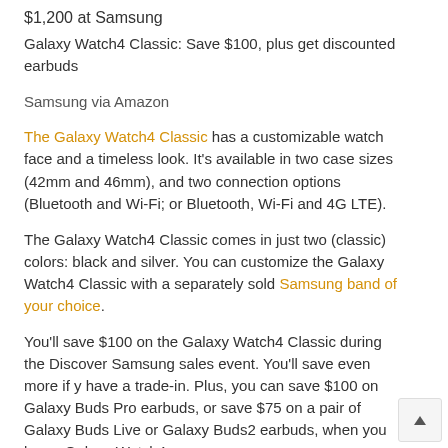$1,200 at Samsung
Galaxy Watch4 Classic: Save $100, plus get discounted earbuds
Samsung via Amazon
The Galaxy Watch4 Classic has a customizable watch face and a timeless look. It's available in two case sizes (42mm and 46mm), and two connection options (Bluetooth and Wi-Fi; or Bluetooth, Wi-Fi and 4G LTE).
The Galaxy Watch4 Classic comes in just two (classic) colors: black and silver. You can customize the Galaxy Watch4 Classic with a separately sold Samsung band of your choice.
You'll save $100 on the Galaxy Watch4 Classic during the Discover Samsung sales event. You'll save even more if you have a trade-in. Plus, you can save $100 on Galaxy Buds Pro earbuds, or save $75 on a pair of Galaxy Buds Live or Galaxy Buds2 earbuds, when you buy a Galaxy Watch4